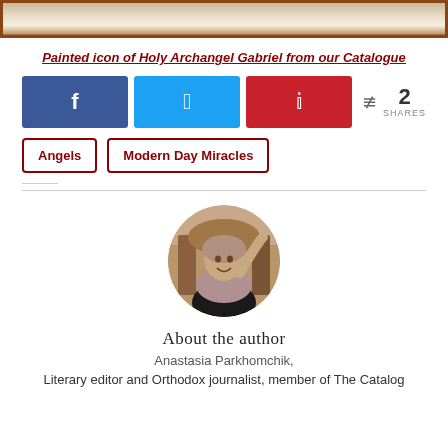[Figure (photo): Top portion of a painted icon in a wooden frame, showing faint religious imagery]
Painted icon of Holy Archangel Gabriel from our Catalogue
[Figure (infographic): Social share buttons: Facebook (f), Twitter (bird), Pinterest (p), and share count showing 2 SHARES]
Angels
Modern Day Miracles
[Figure (photo): Circular author photo of Anastasia Parkhomchik, a woman wearing a headscarf and smiling]
About the author
Anastasia Parkhomchik,
Literary editor and Orthodox journalist, member of The Catalog